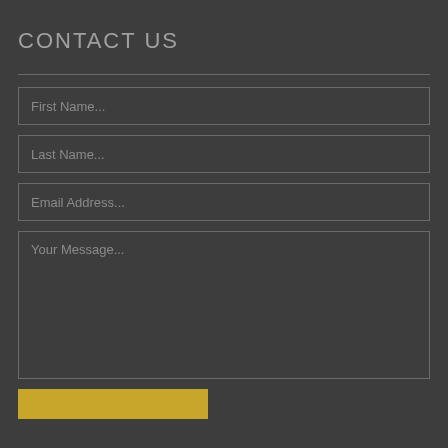CONTACT US
First Name...
Last Name...
Email Address...
Your Message...